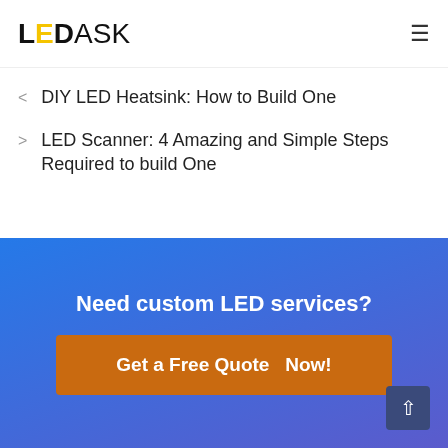LEDASK
DIY LED Heatsink: How to Build One
LED Scanner: 4 Amazing and Simple Steps Required to build One
Need custom LED services?
Get a Free Quote Now!